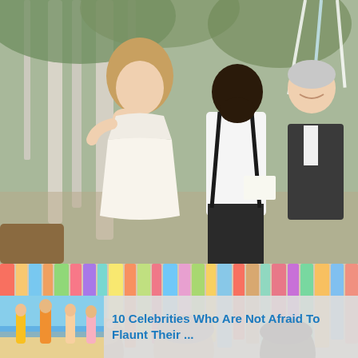[Figure (photo): Outdoor wedding ceremony scene. A smiling blonde bride in a short white dress holds her hand to her face looking emotional. A bearded groom in a white shirt and suspenders reads from a paper. An older man in a suit (officiant or guest) smiles in the background. White birch trees and colorful ribbon streamers visible behind them.]
[Figure (photo): Second wedding photo showing colorful ribbon/fabric streamers hanging in a row, with people (bride with flower crown, a man, and the groom) looking down at something, partially visible at bottom of frame.]
[Figure (photo): Advertisement thumbnail showing people in bikinis on a beach.]
10 Celebrities Who Are Not Afraid To Flaunt Their ...